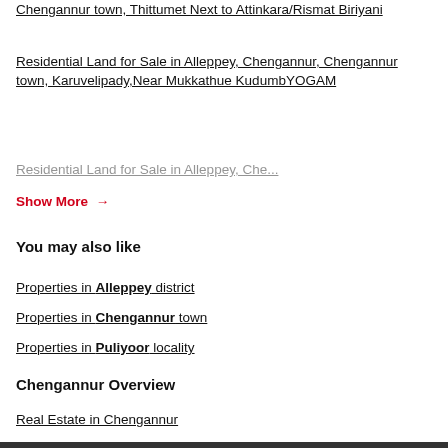Chengannur town, Thittumet Next to Attinkara/Rismat Biriyani
Residential Land for Sale in Alleppey, Chengannur, Chengannur town, Karuvelipady,Near Mukkathue KudumbYOGAM
Residential Land for Sale in Alleppey, Che...
Show More →
You may also like
Properties in Alleppey district
Properties in Chengannur town
Properties in Puliyoor locality
Chengannur Overview
Real Estate in Chengannur